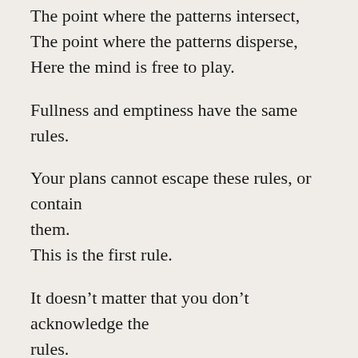The point where the patterns intersect,
The point where the patterns disperse,
Here the mind is free to play.
Fullness and emptiness have the same rules.
Your plans cannot escape these rules, or contain them.
This is the first rule.
It doesn’t matter that you don’t acknowledge the rules.
This is the second rule.
4
I never expect the face in the mirror,